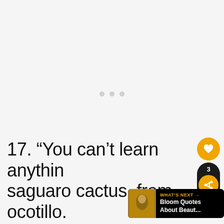[Figure (other): Loading image placeholder with three grey dots centered on a light grey background]
[Figure (infographic): Social media UI overlay with heart/like button (orange circle), share count badge showing 3, and share button (orange circle with share icon) stacked vertically on the right side]
[Figure (other): What's Next overlay widget showing thumbnail and text 'Bloom Quotes About Beaut...']
17. “You can’t learn anythin… saguaro cactus, from ocotillo.